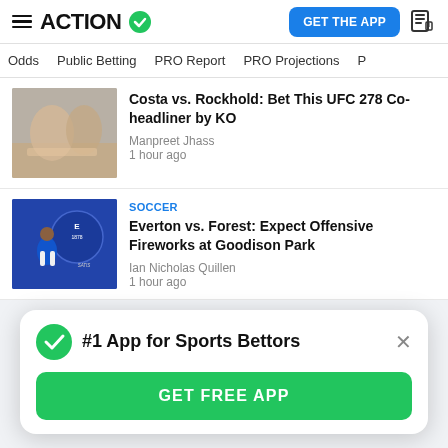ACTION — GET THE APP
Odds | Public Betting | PRO Report | PRO Projections
Costa vs. Rockhold: Bet This UFC 278 Co-headliner by KO
Manpreet Jhass
1 hour ago
SOCCER
Everton vs. Forest: Expect Offensive Fireworks at Goodison Park
Ian Nicholas Quillen
1 hour ago
#1 App for Sports Bettors
GET FREE APP